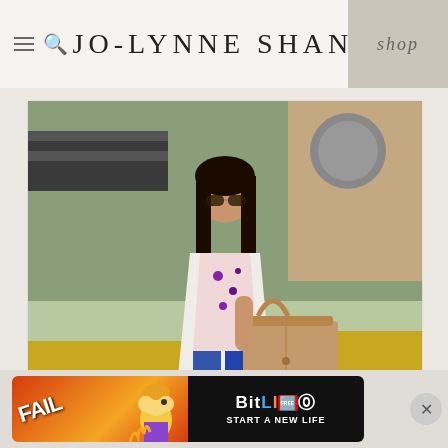JO-LYNNE SHANE
[Figure (photo): Woman wearing sunglasses, white blazer, floral blouse, jeans, carrying a tan structured handbag, standing outdoors in front of yellow flowers]
58. Designer Handbags for Less
[Figure (photo): Two people outdoors, one wearing a dark head wrap and green top, another wearing a white hat and green top, looking at something together]
[Figure (other): BitLife advertisement banner with FAIL text, cartoon character, and START A NEW LIFE tagline]